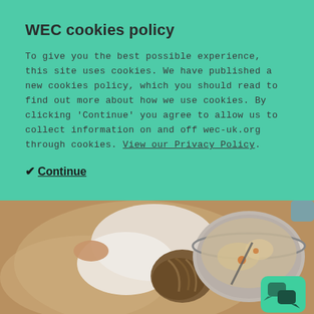WEC cookies policy
To give you the best possible experience, this site uses cookies. We have published a new cookies policy, which you should read to find out more about how we use cookies. By clicking 'Continue' you agree to allow us to collect information on and off wec-uk.org through cookies. View our Privacy Policy.
✔ Continue
[Figure (photo): Overhead photo of a child leaning over a mixing bowl, cooking or baking. The child has braided hair and is wearing white. The bowl is on a beige/tan surface. A chat/messenger icon overlay appears in the bottom right corner.]